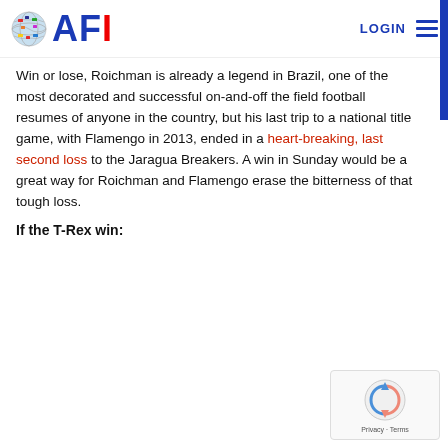AFI LOGIN
Win or lose, Roichman is already a legend in Brazil, one of the most decorated and successful on-and-off the field football resumes of anyone in the country, but his last trip to a national title game, with Flamengo in 2013, ended in a heart-breaking, last second loss to the Jaragua Breakers. A win in Sunday would be a great way for Roichman and Flamengo erase the bitterness of that tough loss.
If the T-Rex win: